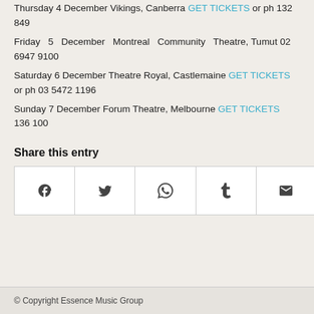Thursday 4 December Vikings, Canberra GET TICKETS or ph 132 849
Friday 5 December Montreal Community Theatre, Tumut 02 6947 9100
Saturday 6 December Theatre Royal, Castlemaine GET TICKETS or ph 03 5472 1196
Sunday 7 December Forum Theatre, Melbourne GET TICKETS 136 100
Share this entry
[Figure (infographic): Social share buttons: Facebook, Twitter, WhatsApp, Tumblr, Email]
© Copyright Essence Music Group